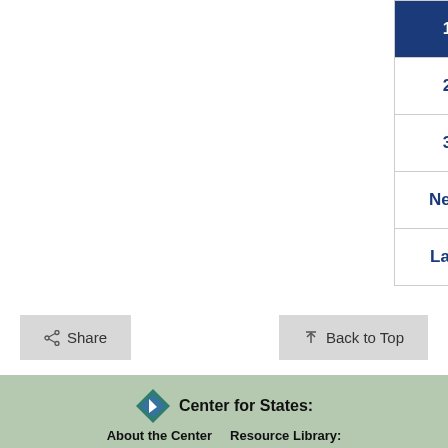| Page |
| --- |
| 1 (active) |
| 2 |
| 3 |
| Next |
| Last |
Share
Back to Top
Center for States:
About the Center
Resource Library: